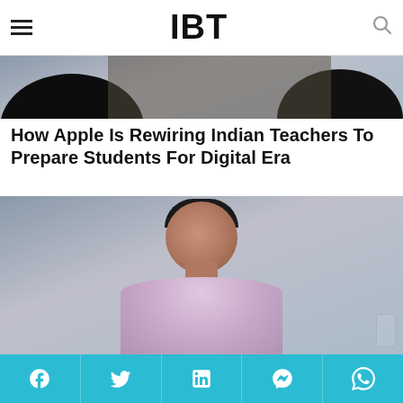IBT
[Figure (photo): Dark silhouette photo strip showing people in a meeting room setting]
How Apple Is Rewiring Indian Teachers To Prepare Students For Digital Era
[Figure (photo): Photo of a man in a light purple/lavender shirt seated at a table, looking serious, with a blurred background]
Social share bar with Facebook, Twitter, LinkedIn, Messenger, WhatsApp icons